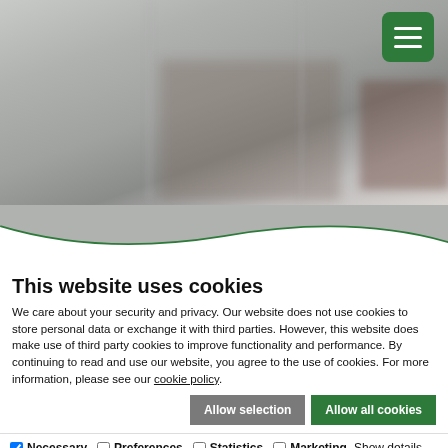[Figure (photo): Blurred photo of a kitchen or interior setting, light gray and beige tones, with green wave divider and green hamburger menu button in top right corner.]
This website uses cookies
We care about your security and privacy. Our website does not use cookies to store personal data or exchange it with third parties. However, this website does make use of third party cookies to improve functionality and performance. By continuing to read and use our website, you agree to the use of cookies. For more information, please see our cookie policy.
Allow selection | Allow all cookies
Necessary  Preferences  Statistics  Marketing  Show details